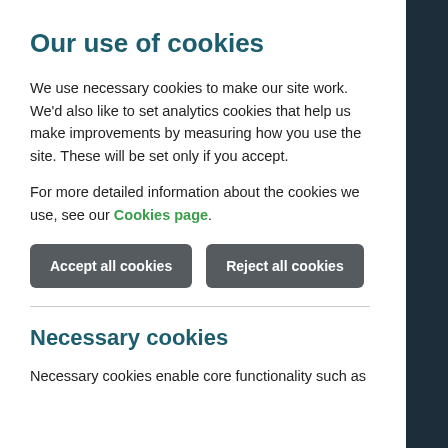Our use of cookies
We use necessary cookies to make our site work. We'd also like to set analytics cookies that help us make improvements by measuring how you use the site. These will be set only if you accept.
For more detailed information about the cookies we use, see our Cookies page.
Accept all cookies | Reject all cookies
Necessary cookies
Necessary cookies enable core functionality such as